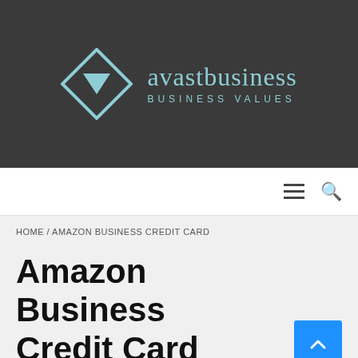[Figure (logo): Avast Business logo with diamond/chevron icon in light blue on dark background, text 'avastbusiness BUSINESS VALUES']
Navigation bar with hamburger menu and search icon
HOME / AMAZON BUSINESS CREDIT CARD
Amazon Business Credit Card